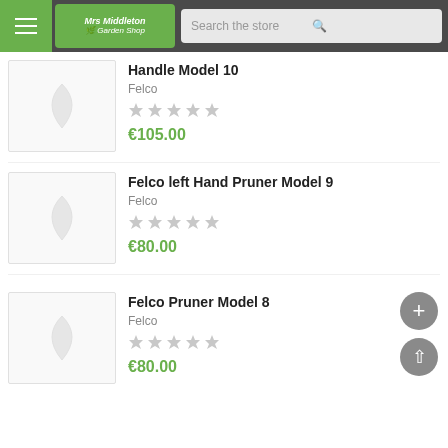Mrs Middleton Garden Shop — Search the store
Handle Model 10
Felco
★★★★★
€105.00
Felco left Hand Pruner Model 9
Felco
★★★★★
€80.00
Felco Pruner Model 8
Felco
★★★★★
€80.00